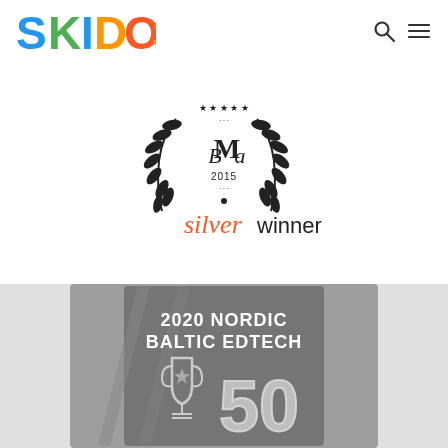[Figure (logo): SKIDOS colorful children's education brand logo with blue, green, blue, orange, red-orange, orange letters]
[Figure (logo): BMA 2015 silver winner award badge with laurel wreath, stars, and text 'silver winner' in orange italic]
[Figure (logo): 2020 Nordic Baltic EdTech 50 award badge in grayscale with trophy icon and number 50]